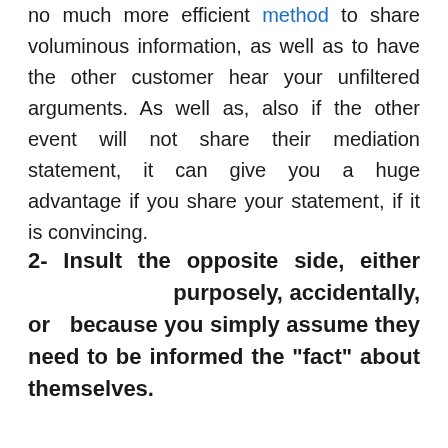no much more efficient method to share voluminous information, as well as to have the other customer hear your unfiltered arguments. As well as, also if the other event will not share their mediation statement, it can give you a huge advantage if you share your statement, if it is convincing.
2- Insult the opposite side, either purposely, accidentally, or because you simply assume they need to be informed the "fact" about themselves.